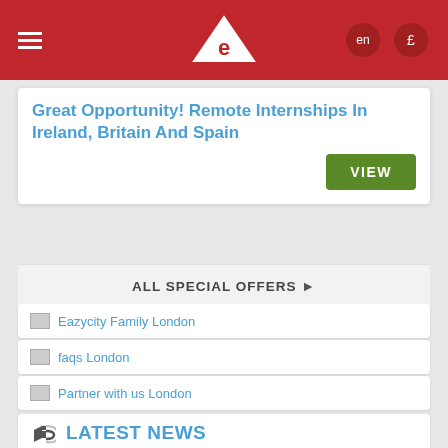Eazycity — en £
Great Opportunity! Remote Internships In Ireland, Britain And Spain
VIEW
ALL SPECIAL OFFERS ▶
Eazycity Family London
faqs London
Partner with us London
LATEST NEWS
[Figure (photo): News article image showing a desk with papers, pencils, and a smartphone; date badge 14 APR with New Program banner]
14 APR